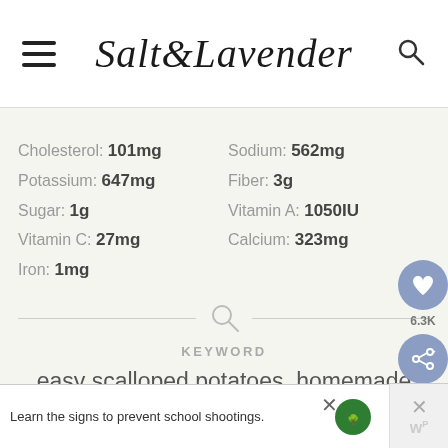Salt & Lavender
Cholesterol: 101mg   Sodium: 562mg
Potassium: 647mg   Fiber: 3g
Sugar: 1g   Vitamin A: 1050IU
Vitamin C: 27mg   Calcium: 323mg
Iron: 1mg
KEYWORD
easy scalloped potatoes, homemade scalloped potatoes, how to make scalloped potatoes, potatoes au gratin